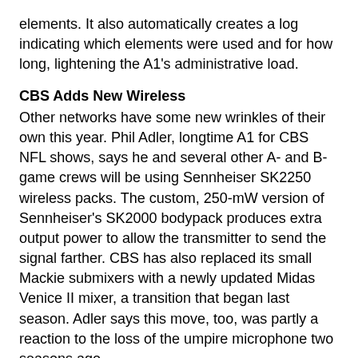elements. It also automatically creates a log indicating which elements were used and for how long, lightening the A1's administrative load.
CBS Adds New Wireless
Other networks have some new wrinkles of their own this year. Phil Adler, longtime A1 for CBS NFL shows, says he and several other A- and B-game crews will be using Sennheiser SK2250 wireless packs. The custom, 250-mW version of Sennheiser's SK2000 bodypack produces extra output power to allow the transmitter to send the signal farther. CBS has also replaced its small Mackie submixers with a newly updated Midas Venice II mixer, a transition that began last season. Adler says this move, too, was partly a reaction to the loss of the umpire microphone two seasons ago.
The combination of Big Ears parabola mounts loaded with Sennheiser MK2 microphones through the new wireless system and mixed through the Midas console has produced